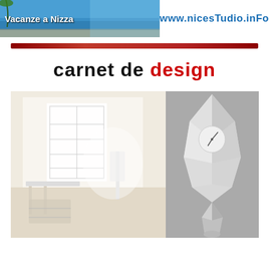[Figure (illustration): Header banner: left side shows 'Vacanze a Nizza' text over a blue beach/sea photograph; right side shows 'www.nicesTudio.inFo' in blue bold text on white background]
[Figure (illustration): Dark red decorative horizontal divider bar]
carnet de design
[Figure (photo): Two-panel photo: left panel shows a white minimalist room with white wicker/wire furniture (bookshelf, chairs, console); right panel shows a sculptural white faceted pendulum clock on a grey wall]